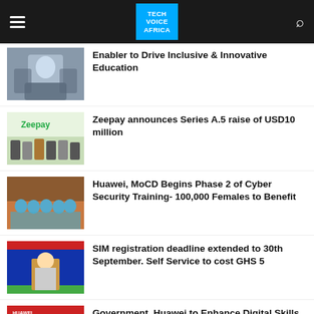TECH VOICE AFRICA
Enabler to Drive Inclusive & Innovative Education
[Figure (photo): Man in suit with hands open, speaking]
Zeepay announces Series A.5 raise of USD10 million
[Figure (photo): Group of people posing in front of Zeepay banner]
Huawei, MoCD Begins Phase 2 of Cyber Security Training- 100,000 Females to Benefit
[Figure (photo): Group of women in blue uniforms seated on bleachers]
SIM registration deadline extended to 30th September. Self Service to cost GHS 5
[Figure (photo): Woman speaking at podium with Accra ministry backdrop]
Government, Huawei to Enhance Digital Skills Capacity of Young Entrepreneurs
[Figure (photo): Huawei branded event image]